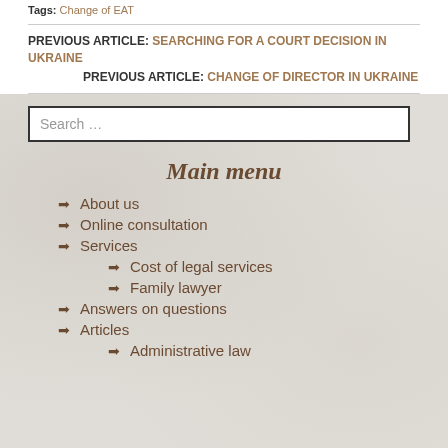Tags: Change of EAT
PREVIOUS ARTICLE: SEARCHING FOR A COURT DECISION IN UKRAINE
PREVIOUS ARTICLE: CHANGE OF DIRECTOR IN UKRAINE
Search …
Main menu
About us
Online consultation
Services
Cost of legal services
Family lawyer
Answers on questions
Articles
Administrative law